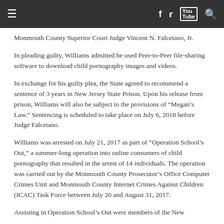Navigation bar with menu, facebook, twitter, youtube, search icons
Monmouth County Superior Court Judge Vincent N. Falcetano, Jr.
In pleading guilty, Williams admitted he used Peer-to-Peer file-sharing software to download child pornography images and videos.
In exchange for his guilty plea, the State agreed to recommend a sentence of 3 years in New Jersey State Prison. Upon his release from prison, Williams will also be subject to the provisions of “Megan’s Law.” Sentencing is scheduled to take place on July 6, 2018 before Judge Falcetano.
Williams was arrested on July 21, 2017 as part of “Operation School’s Out,” a summer-long operation into online consumers of child pornography that resulted in the arrest of 14 individuals. The operation was carried out by the Monmouth County Prosecutor’s Office Computer Crimes Unit and Monmouth County Internet Crimes Against Children (ICAC) Task Force between July 20 and August 31, 2017.
Assisting in Operation School’s Out were members of the New